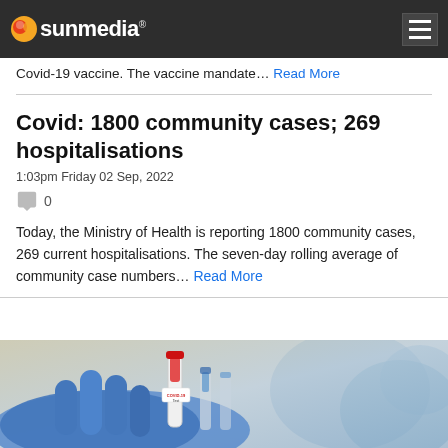sunmedia
Covid-19 vaccine. The vaccine mandate… Read More
Covid: 1800 community cases; 269 hospitalisations
1:03pm Friday 02 Sep, 2022
0
Today, the Ministry of Health is reporting 1800 community cases, 269 current hospitalisations. The seven-day rolling average of community case numbers… Read More
[Figure (photo): Blue gloved hand holding a COVID-19 test tube]